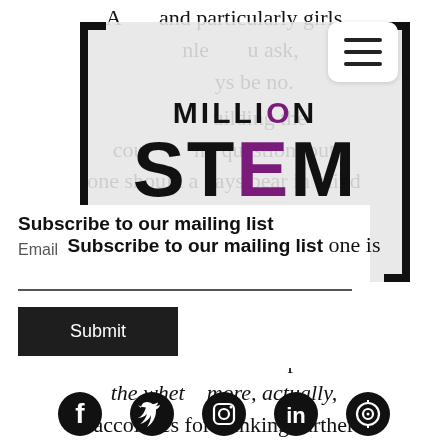[Figure (logo): Million STEM logo with bracket frame on grey overlay background]
[Figure (other): Hamburger menu button (three horizontal lines) in white rounded rectangle]
A and particularly girls nle u ask, ys be no. uilding the cou ny question, but one should a. ays bear in mind that the greater loss is not asking the asking at over if one is the e, one ps on the whet more, actually, accolades for thinking further than the person you asked the
[Figure (other): Subscribe to mailing list form with Email label, input line, and Submit button]
[Figure (other): Social media icons row: Facebook, Twitter, Instagram, LinkedIn, and another icon]